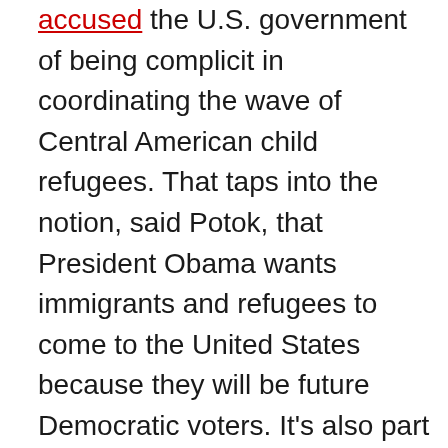accused the U.S. government of being complicit in coordinating the wave of Central American child refugees. That taps into the notion, said Potok, that President Obama wants immigrants and refugees to come to the United States because they will be future Democratic voters. It's also part of a broader theory that dangerous forces abroad are allied with an internal fifth column of liberals who are aiding the enemy for their own nefarious purposes.

These sorts of conspiracies are not limited to immigration: the far right that has taken over the Republican Party incorporates a whole range of extreme theories rooted in the Cold War paranoia of the John Birch Society (which believed that the civil rights movement was a communist plot and more